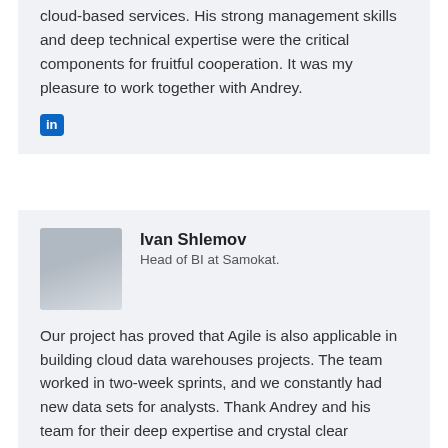cloud-based services. His strong management skills and deep technical expertise were the critical components for fruitful cooperation. It was my pleasure to work together with Andrey.
[Figure (logo): LinkedIn 'in' logo icon in blue]
[Figure (photo): Profile photo of Ivan Shlemov]
Ivan Shlemov
Head of BI at Samokat.
Our project has proved that Agile is also applicable in building cloud data warehouses projects. The team worked in two-week sprints, and we constantly had new data sets for analysts. Thank Andrey and his team for their deep expertise and crystal clear communication.